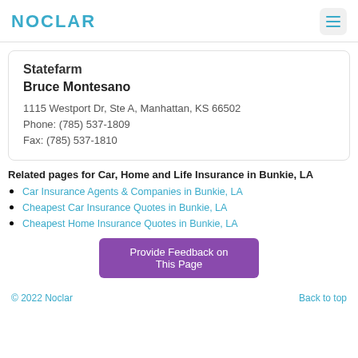NOCLAR
Statefarm
Bruce Montesano
1115 Westport Dr, Ste A, Manhattan, KS 66502
Phone: (785) 537-1809
Fax: (785) 537-1810
Related pages for Car, Home and Life Insurance in Bunkie, LA
Car Insurance Agents & Companies in Bunkie, LA
Cheapest Car Insurance Quotes in Bunkie, LA
Cheapest Home Insurance Quotes in Bunkie, LA
Provide Feedback on This Page
© 2022 Noclar    Back to top